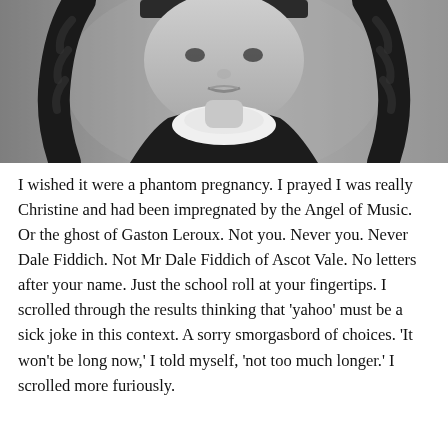[Figure (photo): Black and white photograph of a young girl with braided pigtails and a white Peter Pan collar, looking downward with a serious expression. The image is cropped to show from the braids/top of head area down to the collar.]
I wished it were a phantom pregnancy.  I prayed I was really Christine and had been impregnated by the Angel of Music.  Or the ghost of Gaston Leroux.  Not you.  Never you.  Never Dale Fiddich.  Not Mr Dale Fiddich of Ascot Vale.  No letters after your name.  Just the school roll at your fingertips.  I scrolled through the results thinking that 'yahoo' must be a sick joke in this context.  A sorry smorgasbord of choices.  'It won't be long now,' I told myself, 'not too much longer.'  I scrolled more furiously.